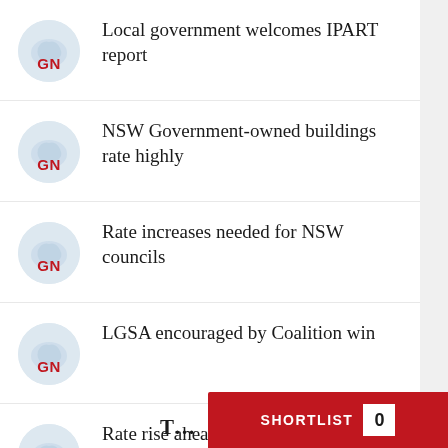Local government welcomes IPART report
NSW Government-owned buildings rate highly
Rate increases needed for NSW councils
LGSA encouraged by Coalition win
Rate rise ahead for Queensland councils
SHORTLIST 0
T…